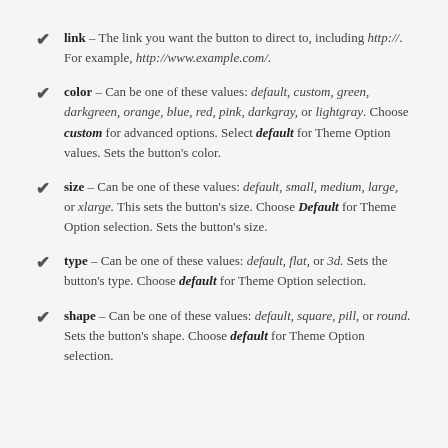link – The link you want the button to direct to, including http://. For example, http://www.example.com/.
color – Can be one of these values: default, custom, green, darkgreen, orange, blue, red, pink, darkgray, or lightgray. Choose custom for advanced options. Select default for Theme Option values. Sets the button's color.
size – Can be one of these values: default, small, medium, large, or xlarge. This sets the button's size. Choose Default for Theme Option selection. Sets the button's size.
type – Can be one of these values: default, flat, or 3d. Sets the button's type. Choose default for Theme Option selection.
shape – Can be one of these values: default, square, pill, or round. Sets the button's shape. Choose default for Theme Option selection.